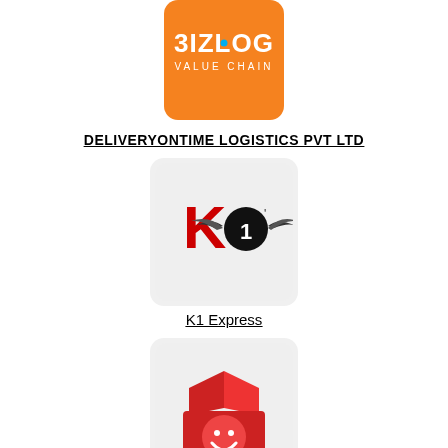[Figure (logo): BIZLOG VALUE CHAIN orange logo with stylized text]
DELIVERYONTIME LOGISTICS PVT LTD
[Figure (logo): K1 Express logo — red K with black circle 1 and wings]
K1 Express
[Figure (logo): AlfaTrex logo — red open box with smiley face]
AlfaTrex
[Figure (logo): Partial logo — yellow and white shape visible at bottom of page]